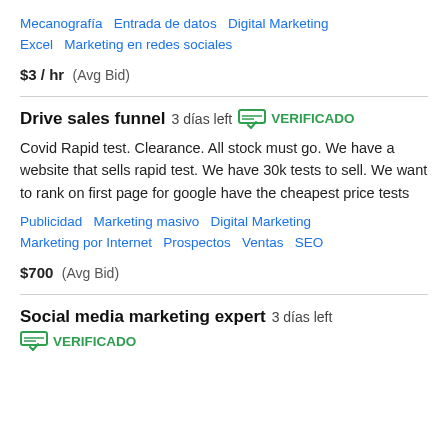Mecanografía   Entrada de datos   Digital Marketing   Excel   Marketing en redes sociales
$3 / hr  (Avg Bid)
Drive sales funnel   3 días left   VERIFICADO
Covid Rapid test. Clearance. All stock must go. We have a website that sells rapid test. We have 30k tests to sell. We want to rank on first page for google have the cheapest price tests
Publicidad   Marketing masivo   Digital Marketing   Marketing por Internet   Prospectos   Ventas   SEO
$700  (Avg Bid)
Social media marketing expert   3 días left   VERIFICADO